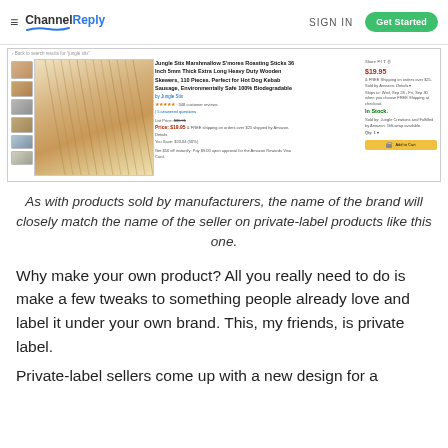ChannelReply — SIGN IN — Get Started
[Figure (screenshot): Amazon product listing screenshot for Jungle Stix Marshmallow S'mores Roasting Sticks 36 Inch 5mm Thick Extra Long Heavy Duty Wooden Skewers, 110 Pieces. Shows product images on left, title and pricing details in center, and add-to-cart panel on right.]
As with products sold by manufacturers, the name of the brand will closely match the name of the seller on private-label products like this one.
Why make your own product? All you really need to do is make a few tweaks to something people already love and label it under your own brand. This, my friends, is private label.
Private-label sellers come up with a new design for a